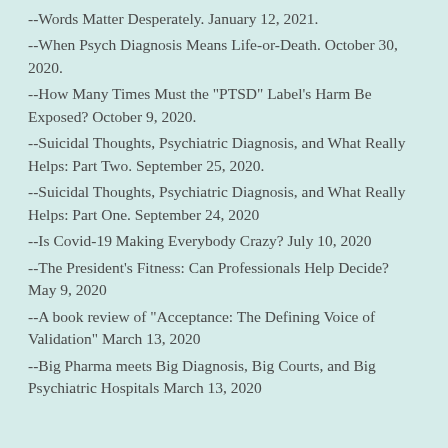--Words Matter Desperately. January 12, 2021.
--When Psych Diagnosis Means Life-or-Death. October 30, 2020.
--How Many Times Must the "PTSD" Label's Harm Be Exposed? October 9, 2020.
--Suicidal Thoughts, Psychiatric Diagnosis, and What Really Helps: Part Two. September 25, 2020.
--Suicidal Thoughts, Psychiatric Diagnosis, and What Really Helps: Part One. September 24, 2020
--Is Covid-19 Making Everybody Crazy? July 10, 2020
--The President's Fitness: Can Professionals Help Decide? May 9, 2020
--A book review of "Acceptance: The Defining Voice of Validation" March 13, 2020
--Big Pharma meets Big Diagnosis, Big Courts, and Big Psychiatric Hospitals March 13, 2020